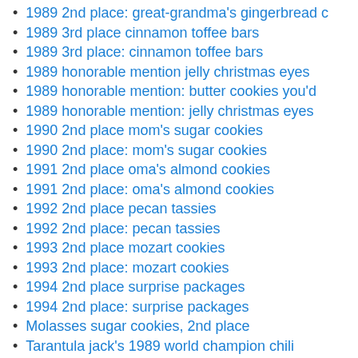1989 2nd place: great-grandma's gingerbread c
1989 3rd place cinnamon toffee bars
1989 3rd place: cinnamon toffee bars
1989 honorable mention jelly christmas eyes
1989 honorable mention: butter cookies you'd
1989 honorable mention: jelly christmas eyes
1990 2nd place mom's sugar cookies
1990 2nd place: mom's sugar cookies
1991 2nd place oma's almond cookies
1991 2nd place: oma's almond cookies
1992 2nd place pecan tassies
1992 2nd place: pecan tassies
1993 2nd place mozart cookies
1993 2nd place: mozart cookies
1994 2nd place surprise packages
1994 2nd place: surprise packages
Molasses sugar cookies, 2nd place
Tarantula jack's 1989 world champion chili